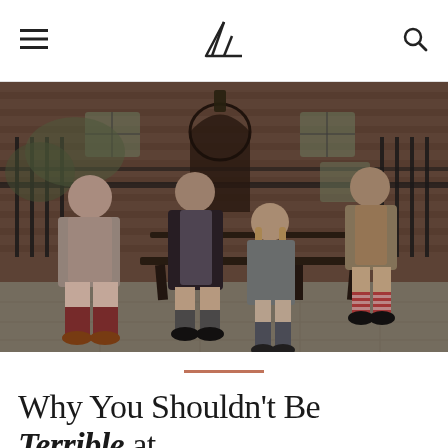≡  [mountain logo]  Q
[Figure (photo): Four young people in eclectic fashion — three men and one woman — posed on and around a wooden bench in front of a brick building with iron railings. They are wearing blazers and knee-length shorts or skirts with various patterned socks. The setting appears to be a London street.]
Why You Shouldn't Be Terrible at